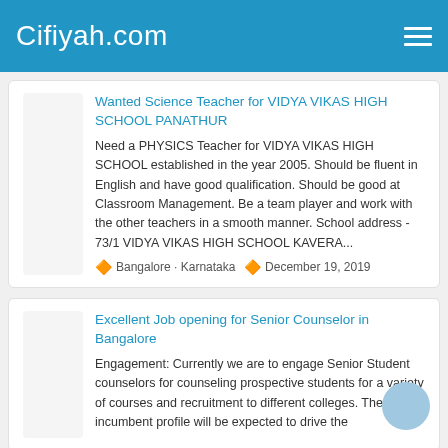Cifiyah.com
Wanted Science Teacher for VIDYA VIKAS HIGH SCHOOL PANATHUR
Need a PHYSICS Teacher for VIDYA VIKAS HIGH SCHOOL established in the year 2005. Should be fluent in English and have good qualification. Should be good at Classroom Management. Be a team player and work with the other teachers in a smooth manner. School address - 73/1 VIDYA VIKAS HIGH SCHOOL KAVERA...
Bangalore · Karnataka  December 19, 2019
Excellent Job opening for Senior Counselor in Bangalore
Engagement: Currently we are to engage Senior Student counselors for counseling prospective students for a variety of courses and recruitment to different colleges. The incumbent profile will be expected to drive the